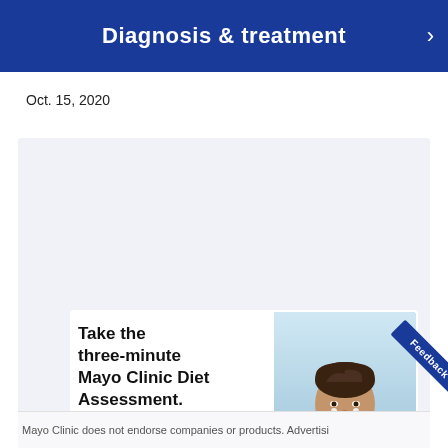Diagnosis & treatment
Oct. 15, 2020
Advertisement
[Figure (illustration): Mayo Clinic Diet advertisement showing a smiling man with earbuds wearing a teal athletic shirt, with text 'Take the three-minute Mayo Clinic Diet Assessment.' and a blue 'Take Assessment' button. Bottom bar shows Best Diets US News badge and Mayo Clinic Diet logo.]
Mayo Clinic does not endorse companies or products. Advertisi